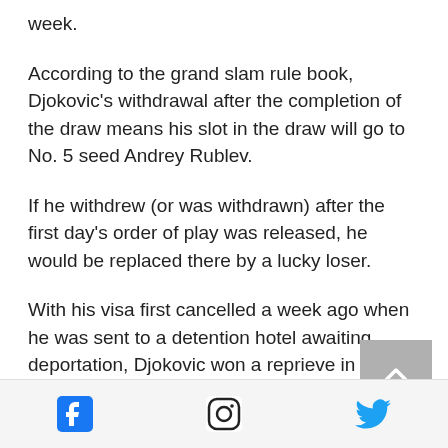week.
According to the grand slam rule book, Djokovic's withdrawal after the completion of the draw means his slot in the draw will go to No. 5 seed Andrey Rublev.
If he withdrew (or was withdrawn) after the first day's order of play was released, he would be replaced there by a lucky loser.
With his visa first cancelled a week ago when he was sent to a detention hotel awaiting deportation, Djokovic won a reprieve in the Federal Circuit
Social media icons: Facebook, Instagram, Twitter